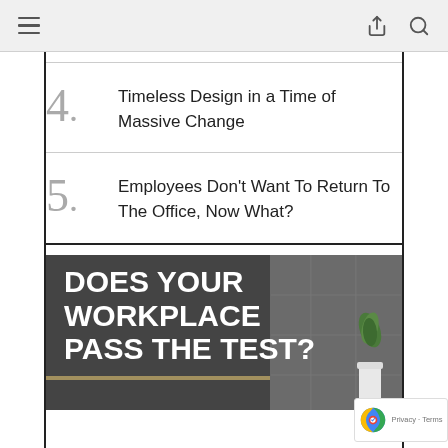Navigation bar with hamburger menu, share icon, and search icon
4. Timeless Design in a Time of Massive Change
5. Employees Don't Want To Return To The Office, Now What?
[Figure (photo): Advertisement or article image with dark tiled bathroom background and white bold text reading 'DOES YOUR WORKPLACE PASS THE TEST?' with a white vase with plant on the right side]